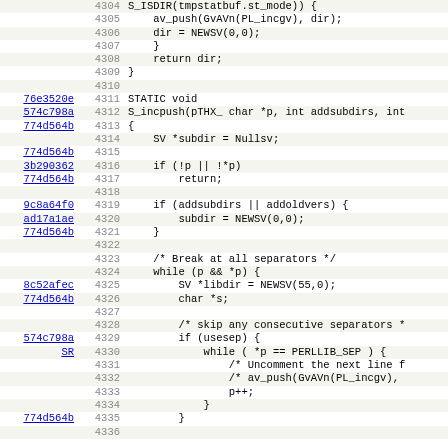[Figure (screenshot): Source code view with line numbers (4304-4335), commit hashes as hyperlinks in left column, and C/Perl code content. Alternating row background colors (light gray and white).]